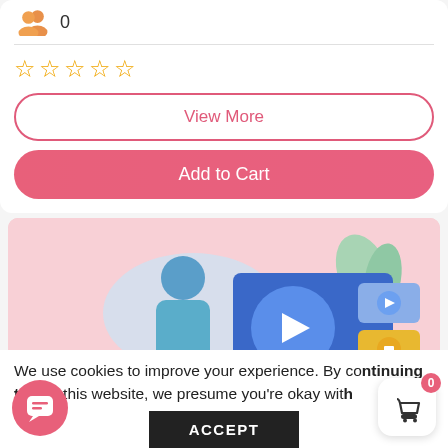[Figure (infographic): Orange user/group icon with count 0 next to it, above a horizontal divider line]
[Figure (infographic): Five orange outlined star rating icons (empty stars)]
View More
Add to Cart
[Figure (illustration): Pink background banner with illustration of a person interacting with a large video player/media UI showing play and pause buttons]
We use cookies to improve your experience. By continuing to use this website, we presume you're okay with
ACCEPT
[Figure (infographic): Red circular chat/message FAB button on bottom left]
[Figure (infographic): White rounded cart FAB button with basket icon and red badge showing 0 on bottom right]